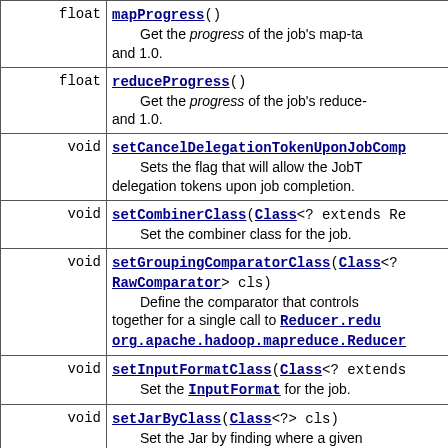| Return type | Method / Description |
| --- | --- |
| float | mapProgress()
    Get the progress of the job's map-ta and 1.0. |
| float | reduceProgress()
    Get the progress of the job's reduce- and 1.0. |
| void | setCancelDelegationTokenUponJobComp...
    Sets the flag that will allow the JobT delegation tokens upon job completion. |
| void | setCombinerClass(Class<? extends Re
    Set the combiner class for the job. |
| void | setGroupingComparatorClass(Class<? RawComparator> cls)
    Define the comparator that controls together for a single call to Reducer.redu org.apache.hadoop.mapreduce.Reducer |
| void | setInputFormatClass(Class<? extends
    Set the InputFormat for the job. |
| void | setJarByClass(Class<?> cls)
    Set the Jar by finding where a given |
| void | setJobName(String name)
    Set the user-specified job name. |
| void | setMapOutputKeyClass(Class<?> theC |